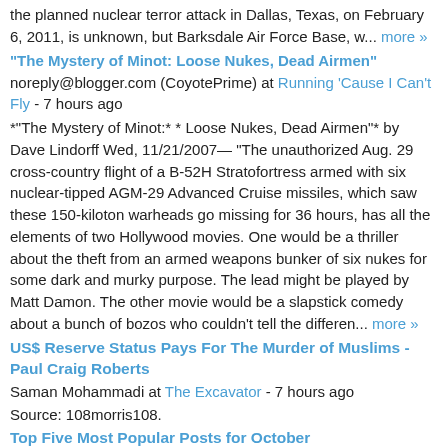the planned nuclear terror attack in Dallas, Texas, on February 6, 2011, is unknown, but Barksdale Air Force Base, w... more »
"The Mystery of Minot: Loose Nukes, Dead Airmen"
noreply@blogger.com (CoyotePrime) at Running 'Cause I Can't Fly - 7 hours ago
*"The Mystery of Minot:* * Loose Nukes, Dead Airmen"* by Dave Lindorff Wed, 11/21/2007— "The unauthorized Aug. 29 cross-country flight of a B-52H Stratofortress armed with six nuclear-tipped AGM-29 Advanced Cruise missiles, which saw these 150-kiloton warheads go missing for 36 hours, has all the elements of two Hollywood movies. One would be a thriller about the theft from an armed weapons bunker of six nukes for some dark and murky purpose. The lead might be played by Matt Damon. The other movie would be a slapstick comedy about a bunch of bozos who couldn't tell the differen... more »
US$ Reserve Status Pays For The Murder of Muslims - Paul Craig Roberts
Saman Mohammadi at The Excavator - 7 hours ago
Source: 108morris108.
Top Five Most Popular Posts for October
Phil at A Very Public Sociologist - 7 hours ago